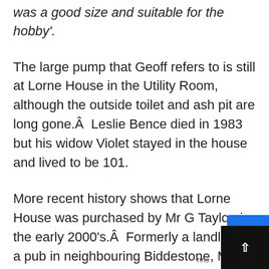was a good size and suitable for the hobby'.
The large pump that Geoff refers to is still at Lorne House in the Utility Room, although the outside toilet and ash pit are long gone.Â  Leslie Bence died in 1983 but his widow Violet stayed in the house and lived to be 101.
More recent history shows that Lorne House was purchased by Mr G Taylor, in the early 2000's.Â  Formerly a landlord of a pub in neighbouring Biddestone, Mr Taylor was the first to turn Lorne House into a Guest House, applying for permission in 2004 to create letting rooms for Bed and Breakfast purposes.Â  We were thrilled, and horrified in equal measure, toÂ  receive some